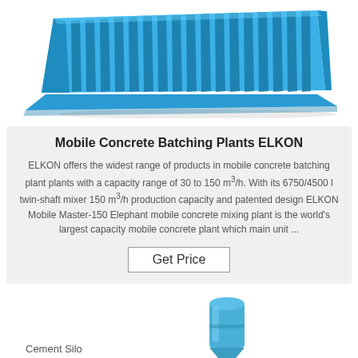[Figure (photo): Blue plastic/metal grate panel (mobile concrete batching plant component) shown at an angle on white background]
Mobile Concrete Batching Plants ELKON
ELKON offers the widest range of products in mobile concrete batching plant plants with a capacity range of 30 to 150 m³/h. With its 6750/4500 l twin-shaft mixer 150 m³/h production capacity and patented design ELKON Mobile Master-150 Elephant mobile concrete mixing plant is the world's largest capacity mobile concrete plant which main unit ...
Get Price
[Figure (photo): Partial view of a blue cement silo at the bottom of the page]
Cement Silo